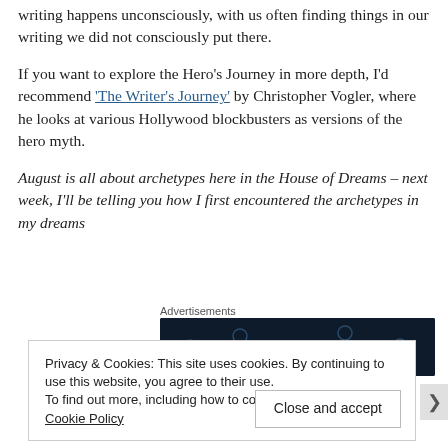writing happens unconsciously, with us often finding things in our writing we did not consciously put there.
If you want to explore the Hero's Journey in more depth, I'd recommend 'The Writer's Journey' by Christopher Vogler, where he looks at various Hollywood blockbusters as versions of the hero myth.
August is all about archetypes here in the House of Dreams – next week, I'll be telling you how I first encountered the archetypes in my dreams
Advertisements
[Figure (other): Dark navy advertisement banner with scattered dot pattern]
Privacy & Cookies: This site uses cookies. By continuing to use this website, you agree to their use. To find out more, including how to control cookies, see here: Cookie Policy
Close and accept